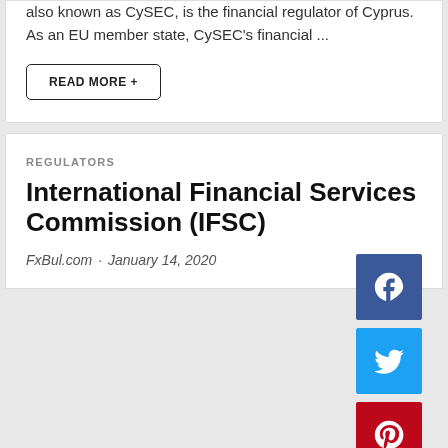also known as CySEC, is the financial regulator of Cyprus. As an EU member state, CySEC's financial ...
READ MORE +
REGULATORS
International Financial Services Commission (IFSC)
FxBul.com · January 14, 2020
[Figure (infographic): Social media share icons: Facebook (blue), Twitter (light blue), Pinterest (red)]